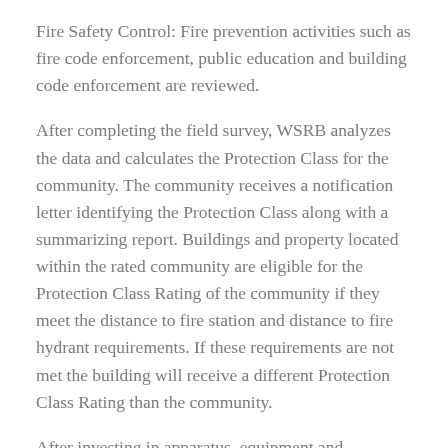Fire Safety Control: Fire prevention activities such as fire code enforcement, public education and building code enforcement are reviewed.
After completing the field survey, WSRB analyzes the data and calculates the Protection Class for the community. The community receives a notification letter identifying the Protection Class along with a summarizing report. Buildings and property located within the rated community are eligible for the Protection Class Rating of the community if they meet the distance to fire station and distance to fire hydrant requirements. If these requirements are not met the building will receive a different Protection Class Rating than the community.
After investing in apparatus, equipment and personnel training and enhancing our Fire Safety Control, Jefferson County Fire Protection District No